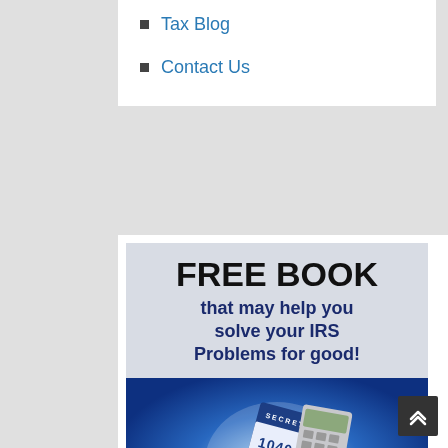Tax Blog
Contact Us
[Figure (illustration): Advertisement banner: 'FREE BOOK that may help you solve your IRS Problems for good!' with blue background showing IRS 1040 tax forms, a calculator, and documents labeled 'SEVEN SECRET'.]